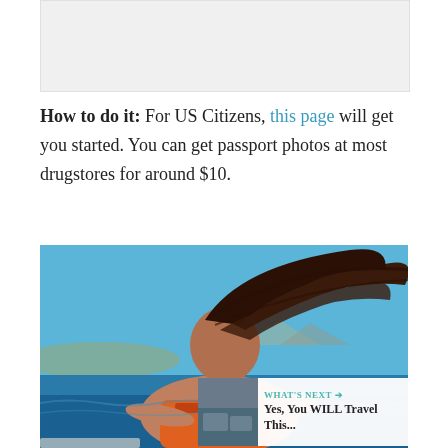[Figure (photo): Placeholder image area at top of page, light gray background]
How to do it: For US Citizens, this page will get you started. You can get passport photos at most drugstores for around $10.
[Figure (photo): A person on a boat with hair blowing in the wind, wearing an orange life jacket, blue sky and water in background. Has heart/like button showing '1', a share button, and a 'What's Next' overlay showing 'Yes, You WILL Travel This...']